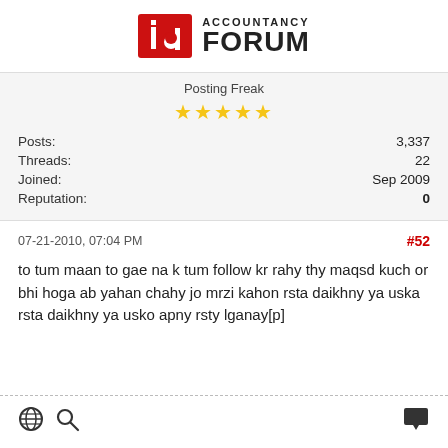ACCOUNTANCY FORUM
Posting Freak
★★★★★
|  |  |
| --- | --- |
| Posts: | 3,337 |
| Threads: | 22 |
| Joined: | Sep 2009 |
| Reputation: | 0 |
07-21-2010, 07:04 PM   #52
to tum maan to gae na k tum follow kr rahy thy maqsd kuch or bhi hoga ab yahan chahy jo mrzi kahon rsta daikhny ya uska rsta daikhny ya usko apny rsty lganay[p]
🌐 🔍 💬